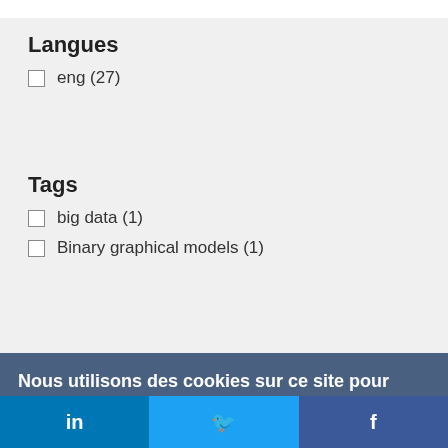Langues
eng (27)
Tags
big data (1)
Binary graphical models (1)
Nous utilisons des cookies sur ce site pour améliorer votre expérience d'utilisateur.
En cliquant sur un lien de cette page, vous nous donnez votre consentement de définir des cookies.
Oui, je suis d'accord
Plus d'infos
in  Twitter  f